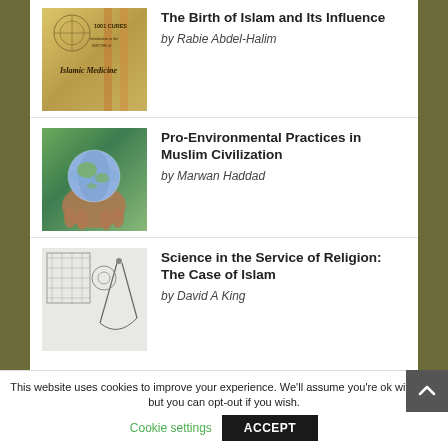[Figure (illustration): Book cover for 'The Birth of Islam and Its Influence' — antique map style with Islamic medicine imagery and text '1001 Cures, Introduction to the History of Islamic Medicine']
The Birth of Islam and Its Influence
by Rabie Abdel-Halim
[Figure (photo): Hands holding a globe/Earth with green natural background]
Pro-Environmental Practices in Muslim Civilization
by Marwan Haddad
[Figure (illustration): Technical/scientific drawings and diagrams related to astronomy or geometry in the Islamic tradition]
Science in the Service of Religion: The Case of Islam
by David A King
This website uses cookies to improve your experience. We'll assume you're ok with this, but you can opt-out if you wish.
Cookie settings
ACCEPT